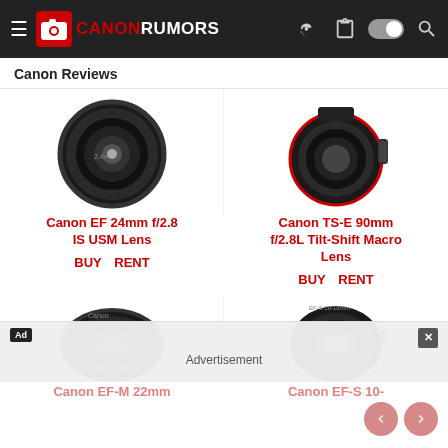Canon Rumors
Canon Reviews
[Figure (photo): Canon EF 24mm f/2.8 IS USM Lens - black camera lens product photo]
Canon EF 24mm f/2.8 IS USM Lens
BUY   RENT
[Figure (photo): Canon TS-E 90mm f/2.8L Tilt-Shift Macro Lens - black camera lens product photo]
Canon TS-E 90mm f/2.8L Tilt-Shift Macro Lens
BUY   RENT
[Figure (photo): Canon EF-M 22mm lens product photo - small black pancake lens]
Canon EF-M 22mm
[Figure (photo): Canon EF-S 10-18mm lens product photo - black wide-angle lens]
Canon EF-S 10-18mm
Advertisement